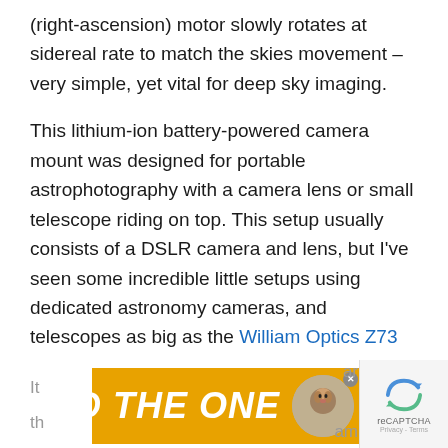(right-ascension) motor slowly rotates at sidereal rate to match the skies movement – very simple, yet vital for deep sky imaging.
This lithium-ion battery-powered camera mount was designed for portable astrophotography with a camera lens or small telescope riding on top. This setup usually consists of a DSLR camera and lens, but I've seen some incredible little setups using dedicated astronomy cameras, and telescopes as big as the William Optics Z73 mounted (with a 50mm guide scope)!
[Figure (other): Advertisement banner showing a dog and text 'FIND THE ONE' on a golden/yellow background, with a reCAPTCHA widget on the right side and partial article text visible behind.]